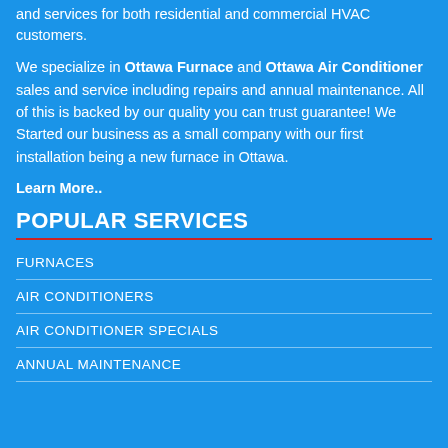and services for both residential and commercial HVAC customers.
We specialize in Ottawa Furnace and Ottawa Air Conditioner sales and service including repairs and annual maintenance. All of this is backed by our quality you can trust guarantee! We Started our business as a small company with our first installation being a new furnace in Ottawa.
Learn More..
POPULAR SERVICES
FURNACES
AIR CONDITIONERS
AIR CONDITIONER SPECIALS
ANNUAL MAINTENANCE